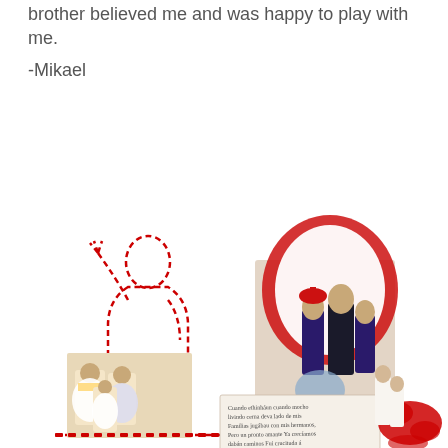brother believed me and was happy to play with me.
-Mikael
[Figure (photo): Collage page with a red dashed outline silhouette of a person on the left, two photos of children in traditional indigenous costumes, a handwritten Spanish text block in the center-bottom, and a photo of children with red paint/ink splatter on the right.]